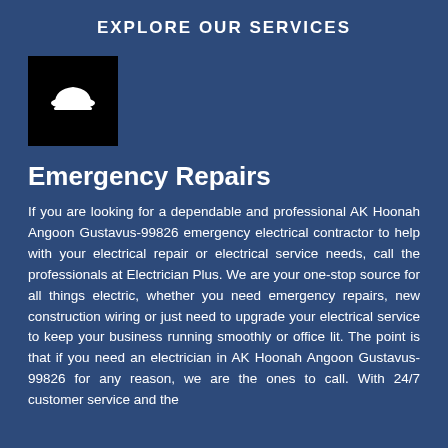EXPLORE OUR SERVICES
[Figure (illustration): Black square icon with a white construction/safety helmet icon]
Emergency Repairs
If you are looking for a dependable and professional AK Hoonah Angoon Gustavus-99826 emergency electrical contractor to help with your electrical repair or electrical service needs, call the professionals at Electrician Plus. We are your one-stop source for all things electric, whether you need emergency repairs, new construction wiring or just need to upgrade your electrical service to keep your business running smoothly or office lit. The point is that if you need an electrician in AK Hoonah Angoon Gustavus-99826 for any reason, we are the ones to call. With 24/7 customer service and the